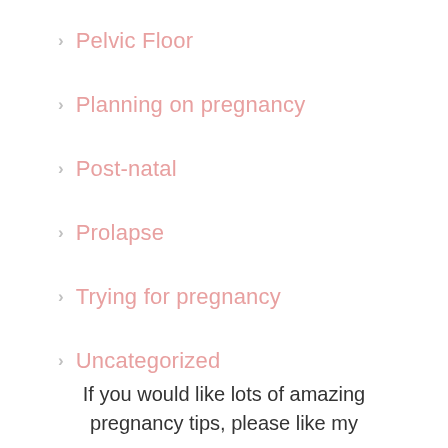Pelvic Floor
Planning on pregnancy
Post-natal
Prolapse
Trying for pregnancy
Uncategorized
If you would like lots of amazing pregnancy tips, please like my